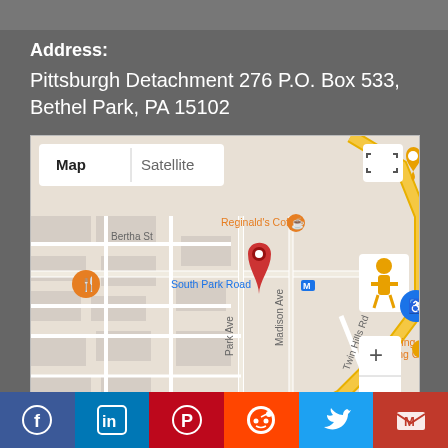Address:
Pittsburgh Detachment 276 P.O. Box 533, Bethel Park, PA 15102
[Figure (map): Google Map showing location near South Park Road and Park Ave in Bethel Park, PA, with red location pin, Map/Satellite toggle, zoom controls, and pegman icon. Nearby labels include Reginald's Coffee, Drowning Fish Brewing Company, Pasta Too, South Park Rd, Leis Ln, Madison Ave, Park Ave, Twin Hills Rd, Bertha St, Oak St.]
Facebook LinkedIn Pinterest Reddit Twitter Gmail social share buttons